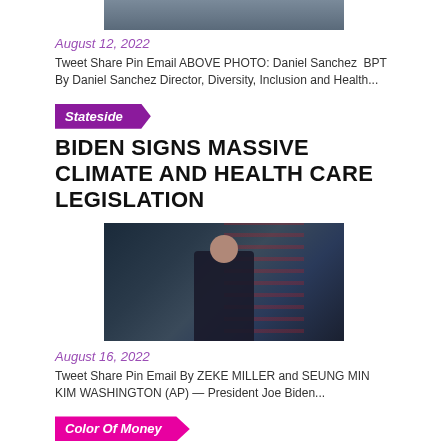[Figure (photo): Top portion of a photo showing a person in a suit, cropped at top of page]
August 12, 2022
Tweet Share Pin Email ABOVE PHOTO: Daniel Sanchez  BPT By Daniel Sanchez Director, Diversity, Inclusion and Health...
Stateside
BIDEN SIGNS MASSIVE CLIMATE AND HEALTH CARE LEGISLATION
[Figure (photo): President Joe Biden standing at a podium with an American flag in the background]
August 16, 2022
Tweet Share Pin Email By ZEKE MILLER and SEUNG MIN KIM WASHINGTON (AP) — President Joe Biden...
Color Of Money
THREE WAYS TO PROTECT AGAINST SOCIAL ENGINEERING